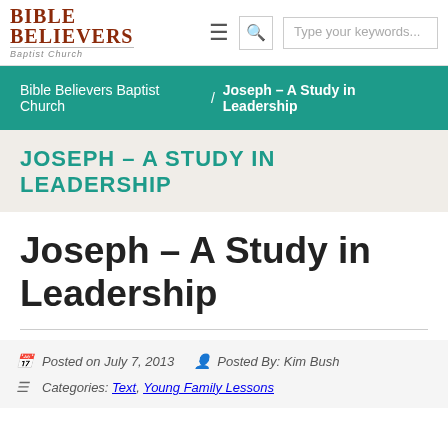Bible Believers Baptist Church — navigation bar with logo, menu icon, search
Bible Believers Baptist Church / Joseph – A Study in Leadership
JOSEPH – A STUDY IN LEADERSHIP
Joseph – A Study in Leadership
Posted on July 7, 2013   Posted By: Kim Bush
Categories: Text, Young Family Lessons